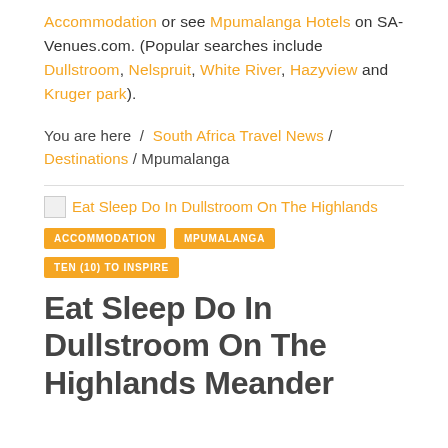Accommodation or see Mpumalanga Hotels on SA-Venues.com. (Popular searches include Dullstroom, Nelspruit, White River, Hazyview and Kruger park).
You are here / South Africa Travel News / Destinations / Mpumalanga
[Figure (other): Broken image icon next to article link text]
Eat Sleep Do In Dullstroom On The Highlands
ACCOMMODATION   MPUMALANGA   TEN (10) TO INSPIRE
Eat Sleep Do In Dullstroom On The Highlands Meander